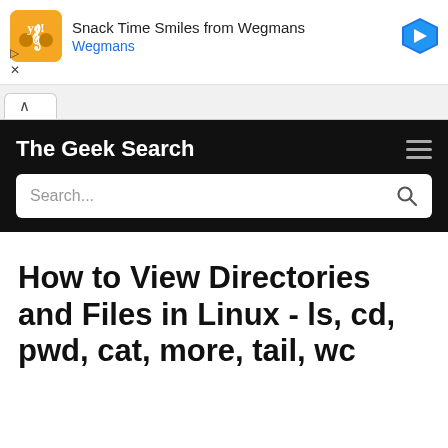[Figure (infographic): Wegmans ad banner with orange logo, 'Snack Time Smiles from Wegmans' text, Wegmans subtitle in blue, and a blue navigation arrow icon on the right. Below the ad are play and close controls.]
[Figure (screenshot): Browser tab bar showing an active tab with an up caret icon.]
The Geek Search
Search...
How to View Directories and Files in Linux - ls, cd, pwd, cat, more, tail, wc